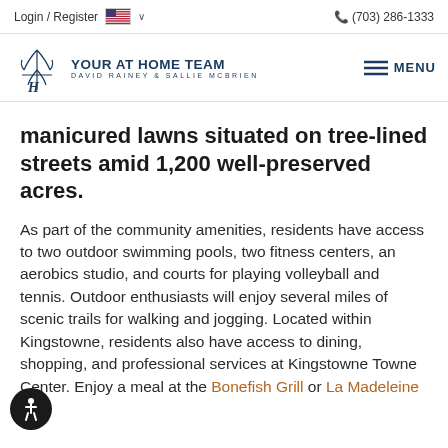Login / Register  (703) 286-1333
[Figure (logo): Your At Home Team logo with decorative script and text 'YOUR AT HOME TEAM DAVID RAINEY & SALLIE MCBRIEN']
manicured lawns situated on tree-lined streets amid 1,200 well-preserved acres.
As part of the community amenities, residents have access to two outdoor swimming pools, two fitness centers, an aerobics studio, and courts for playing volleyball and tennis. Outdoor enthusiasts will enjoy several miles of scenic trails for walking and jogging. Located within Kingstowne, residents also have access to dining, shopping, and professional services at Kingstowne Towne Center. Enjoy a meal at the Bonefish Grill or La Madeleine French...